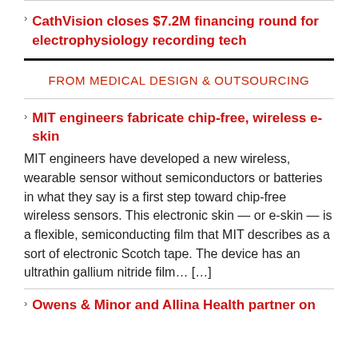CathVision closes $7.2M financing round for electrophysiology recording tech
FROM MEDICAL DESIGN & OUTSOURCING
MIT engineers fabricate chip-free, wireless e-skin
MIT engineers have developed a new wireless, wearable sensor without semiconductors or batteries in what they say is a first step toward chip-free wireless sensors. This electronic skin — or e-skin — is a flexible, semiconducting film that MIT describes as a sort of electronic Scotch tape. The device has an ultrathin gallium nitride film… […]
Owens & Minor and Allina Health partner on